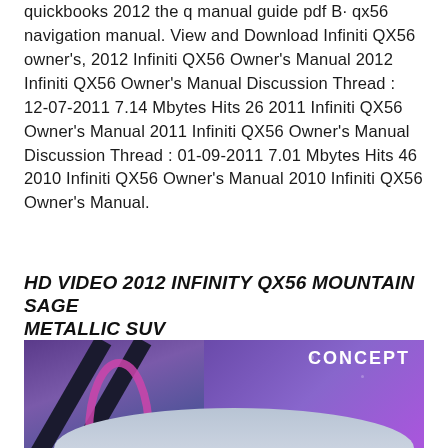quickbooks 2012 the q manual guide pdf B· qx56 navigation manual. View and Download Infiniti QX56 owner's, 2012 Infiniti QX56 Owner's Manual 2012 Infiniti QX56 Owner's Manual Discussion Thread : 12-07-2011 7.14 Mbytes Hits 26 2011 Infiniti QX56 Owner's Manual 2011 Infiniti QX56 Owner's Manual Discussion Thread : 01-09-2011 7.01 Mbytes Hits 46 2010 Infiniti QX56 Owner's Manual 2010 Infiniti QX56 Owner's Manual.
HD VIDEO 2012 INFINITY QX56 MOUNTAIN SAGE METALLIC SUV
[Figure (photo): Photo of a silver/metallic car (Infiniti QX56 concept) displayed at what appears to be an auto show. The background features purple and blue lighting with a 'CONCEPT' sign in the upper right. The left side shows dark architectural elements.]